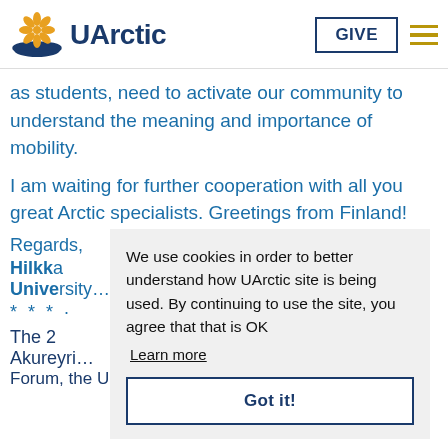[Figure (logo): UArctic logo with sunflower/snowflake symbol in gold/blue and 'UArctic' text in dark blue, plus GIVE button and hamburger menu]
as students, need to activate our community to understand the meaning and importance of mobility.
I am waiting for further cooperation with all you great Arctic specialists. Greetings from Finland!
Regards,
Hilkka
University [partially obscured]
* * * [partially obscured]
The 2[partially obscured]
Akureyri [partially obscured]
Forum, the University of Akureyri will continue the
We use cookies in order to better understand how UArctic site is being used. By continuing to use the site, you agree that that is OK
Learn more
Got it!